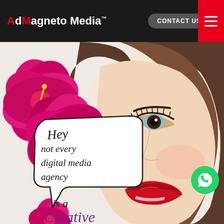AdMagneto Media™
CONTACT US
[Figure (illustration): Fashion illustration of a woman's face with red lips and dramatic eye makeup, decorated with large pink/magenta hibiscus flowers. Speech bubble reads 'Hey not every digital media agency'. Bottom text reads 'is a Creative digital media'. WhatsApp chat icon button overlaid bottom right.]